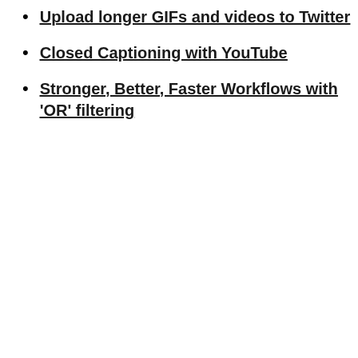Upload longer GIFs and videos to Twitter
Closed Captioning with YouTube
Stronger, Better, Faster Workflows with 'OR' filtering